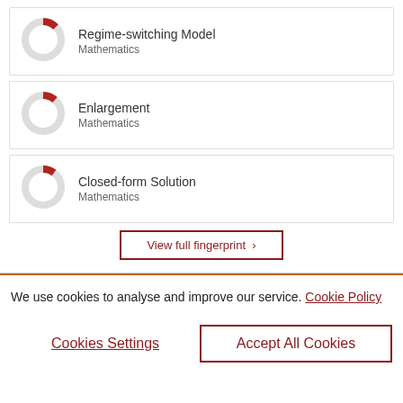[Figure (donut-chart): Donut chart showing partial fill in red, majority grey, for Regime-switching Model - Mathematics]
Regime-switching Model
Mathematics
[Figure (donut-chart): Donut chart showing partial fill in red, majority grey, for Enlargement - Mathematics]
Enlargement
Mathematics
[Figure (donut-chart): Donut chart showing partial fill in red, majority grey, for Closed-form Solution - Mathematics]
Closed-form Solution
Mathematics
View full fingerprint ›
We use cookies to analyse and improve our service. Cookie Policy
Cookies Settings
Accept All Cookies